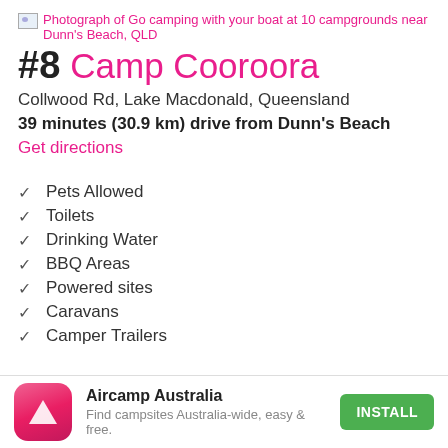[Figure (photo): Photograph link: Go camping with your boat at 10 campgrounds near Dunn's Beach, QLD]
#8 Camp Cooroora
Collwood Rd, Lake Macdonald, Queensland
39 minutes (30.9 km) drive from Dunn's Beach
Get directions
Pets Allowed
Toilets
Drinking Water
BBQ Areas
Powered sites
Caravans
Camper Trailers
Aircamp Australia
Find campsites Australia-wide, easy & free.